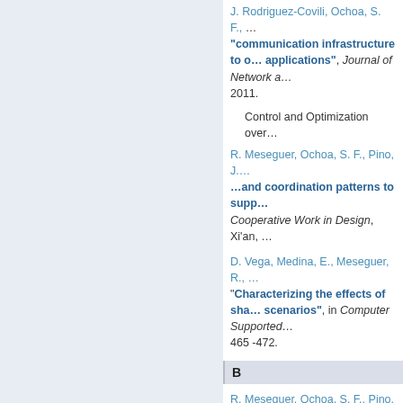J. Rodriguez-Covili, Ochoa, S. F., … "communication infrastructure to … applications", Journal of Network a… 2011.
Control and Optimization over…
R. Meseguer, Ochoa, S. F., Pino, J.… "…and coordination patterns to supp…" Cooperative Work in Design, Xi'an, …
D. Vega, Medina, E., Meseguer, R., … "Characterizing the effects of sha… scenarios", in Computer Supported… 465 -472.
B
R. Meseguer, Ochoa, S. F., Pino, J.… "Building Real-World Ad-hoc Netw… Applications: Lessons Learned", … (CRIWG), 2009.
E. Medina, Meseguer, R., Ochoa, S.…